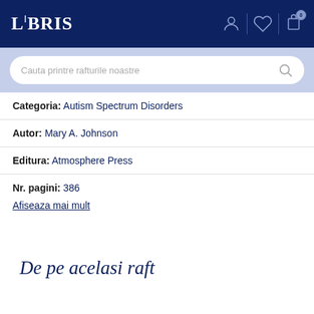LIBRIS
Categoria: Autism Spectrum Disorders
Autor: Mary A. Johnson
Editura: Atmosphere Press
Nr. pagini: 386
Afiseaza mai mult
De pe acelasi raft